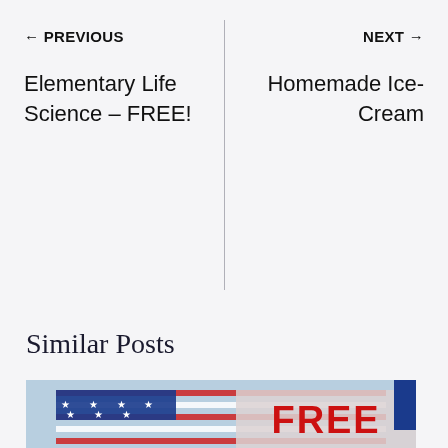← PREVIOUS
Elementary Life Science – FREE!
NEXT →
Homemade Ice-Cream
Similar Posts
[Figure (photo): American flag waving against a light blue sky background, with a semi-transparent overlay showing the word FREE in large red bold letters]